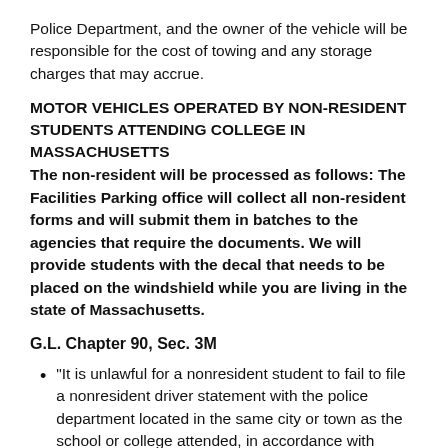Police Department, and the owner of the vehicle will be responsible for the cost of towing and any storage charges that may accrue.
MOTOR VEHICLES OPERATED BY NON-RESIDENT STUDENTS ATTENDING COLLEGE IN MASSACHUSETTS
The non-resident will be processed as follows: The Facilities Parking office will collect all non-resident forms and will submit them in batches to the agencies that require the documents. We will provide students with the decal that needs to be placed on the windshield while you are living in the state of Massachusetts.
G.L. Chapter 90, Sec. 3M
"It is unlawful for a nonresident student to fail to file a nonresident driver statement with the police department located in the same city or town as the school or college attended, in accordance with Section 3 of Chapter 90 of the Massachusetts General Laws. Failure to file such statement is punishable by a fine not to exceed